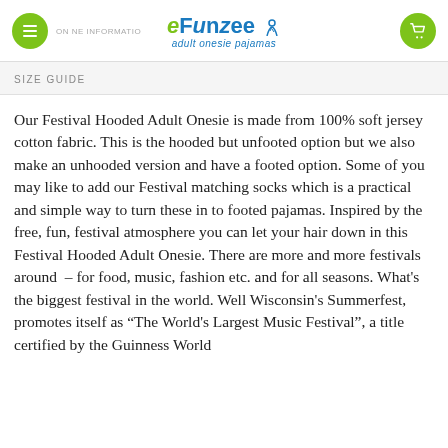eFunzee adult onesie pajamas
SIZE GUIDE
Our Festival Hooded Adult Onesie is made from 100% soft jersey cotton fabric. This is the hooded but unfooted option but we also make an unhooded version and have a footed option. Some of you may like to add our Festival matching socks which is a practical and simple way to turn these in to footed pajamas. Inspired by the free, fun, festival atmosphere you can let your hair down in this Festival Hooded Adult Onesie. There are more and more festivals around  – for food, music, fashion etc. and for all seasons. What's the biggest festival in the world. Well Wisconsin's Summerfest, promotes itself as “The World's Largest Music Festival”, a title certified by the Guinness World